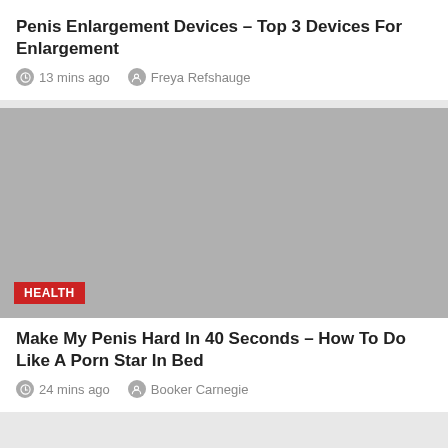Penis Enlargement Devices – Top 3 Devices For Enlargement
13 mins ago   Freya Refshauge
[Figure (photo): Gray placeholder image with a red HEALTH badge in the bottom-left corner]
Make My Penis Hard In 40 Seconds – How To Do Like A Porn Star In Bed
24 mins ago   Booker Carnegie